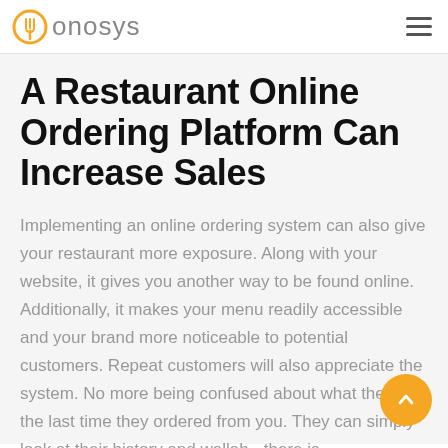onosys
A Restaurant Online Ordering Platform Can Increase Sales
Implementing an online ordering system can also give your restaurant more exposure. Along with your website, it gives you another way to be found online. Additionally, it makes your menu readily accessible and your brand more noticeable to potential customers. Repeat customers will also appreciate the system. No more being confused about what they ate the last time they ordered from you. They can simply look at their history and wallah - there is.